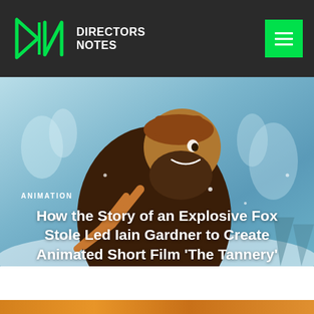Directors Notes
ANIMATION
How the Story of an Explosive Fox Stole Led Iain Gardner to Create Animated Short Film ‘The Tannery’
[Figure (photo): Animated character from 'The Tannery' — a large bearded man in brown fur clothing against a blue icy background with snow crystals]